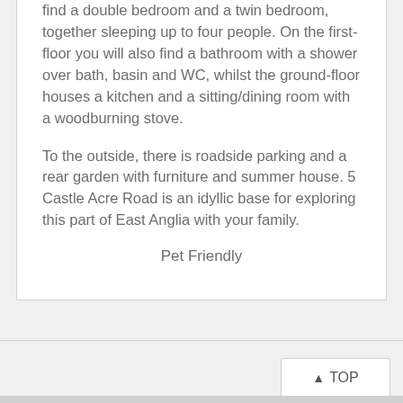find a double bedroom and a twin bedroom, together sleeping up to four people. On the first-floor you will also find a bathroom with a shower over bath, basin and WC, whilst the ground-floor houses a kitchen and a sitting/dining room with a woodburning stove.
To the outside, there is roadside parking and a rear garden with furniture and summer house. 5 Castle Acre Road is an idyllic base for exploring this part of East Anglia with your family.
Pet Friendly